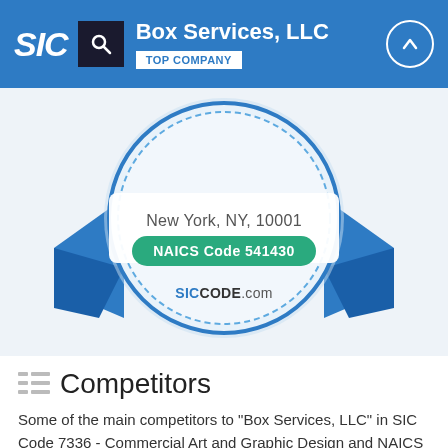SIC | Box Services, LLC | TOP COMPANY
[Figure (illustration): Award badge/ribbon graphic with text 'New York, NY, 10001', 'NAICS Code 541430', and 'SICCODE.com' on a blue and white ribbon/rosette design]
Competitors
Some of the main competitors to "Box Services, LLC" in SIC Code 7336 - Commercial Art and Graphic Design and NAICS Code 541430 - Graphic Design Services are the following: